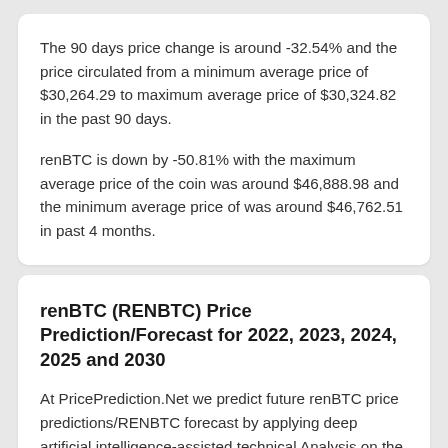The 90 days price change is around -32.54% and the price circulated from a minimum average price of $30,264.29 to maximum average price of $30,324.82 in the past 90 days.
renBTC is down by -50.81% with the maximum average price of the coin was around $46,888.98 and the minimum average price of was around $46,762.51 in past 4 months.
renBTC (RENBTC) Price Prediction/Forecast for 2022, 2023, 2024, 2025 and 2030
At PricePrediction.Net we predict future renBTC price predictions/RENBTC forecast by applying deep artificial intelligence-assisted technical Analysis on the past price data of renBTC. We do our best to collect maximum historical data for the RENBTC coin which includes multiple parameters like past price, renBTC marketcap, renBTC volume and few more.